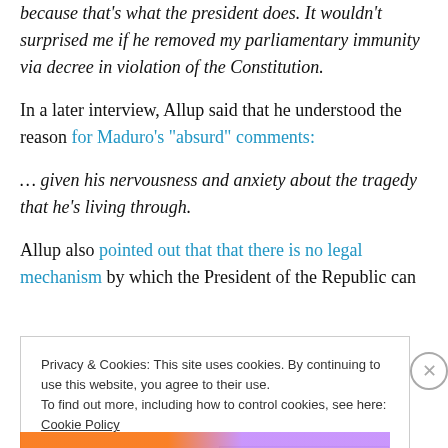because that's what the president does. It wouldn't surprised me if he removed my parliamentary immunity via decree in violation of the Constitution.
In a later interview, Allup said that he understood the reason for Maduro's "absurd" comments:
… given his nervousness and anxiety about the tragedy that he's living through.
Allup also pointed out that that there is no legal mechanism by which the President of the Republic can
Privacy & Cookies: This site uses cookies. By continuing to use this website, you agree to their use.
To find out more, including how to control cookies, see here: Cookie Policy